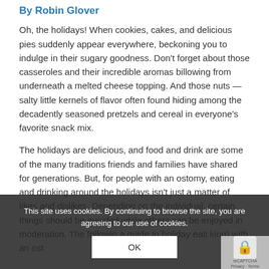By Robin Glover
Oh, the holidays! When cookies, cakes, and delicious pies suddenly appear everywhere, beckoning you to indulge in their sugary goodness. Don't forget about those casseroles and their incredible aromas billowing from underneath a melted cheese topping. And those nuts — salty little kernels of flavor often found hiding among the decadently seasoned pretzels and cereal in everyone's favorite snack mix.
The holidays are delicious, and food and drink are some of the many traditions friends and families have shared for generations. But, for people with an ostomy, eating and drinking around the holidays isn't just a matter of likes and dislikes. Depending on the individual, certain things should be avoided while others can be enjoyed in moderation. The following is a guide to holiday eating (and drinking) with an ost…
This site uses cookies. By continuing to browse the site, you are agreeing to our use of cookies.